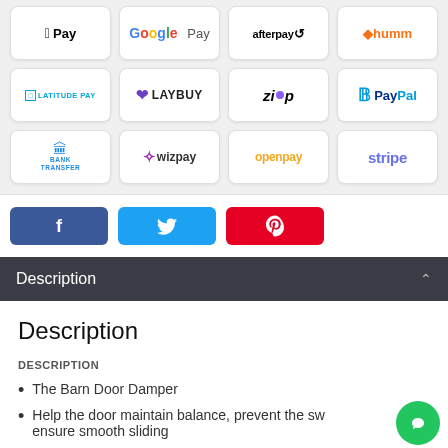[Figure (other): Payment method logos grid showing Apple Pay, Google Pay, Afterpay, Humm, Latitude Pay, Laybuy, Zip, PayPal, Bank Transfer, Wizpay, Openpay, Stripe]
[Figure (other): Social share buttons: Facebook (blue), Twitter (light blue), Pinterest (red)]
Description
Description
DESCRIPTION
The Barn Door Damper
Help the door maintain balance, prevent the sw... ensure smooth sliding